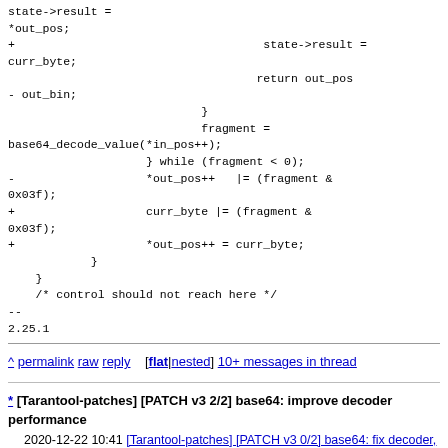state->result =
*out_pos;
+                                    state->result =
curr_byte;
                                    return out_pos
- out_bin;
                            }
                            fragment =
base64_decode_value(*in_pos++);
                    } while (fragment < 0);
-                   *out_pos++   |= (fragment &
0x03f);
+                   curr_byte |= (fragment &
0x03f);
+                   *out_pos++ = curr_byte;
                }
        }
        /* control should not reach here */
--
2.25.1
^ permalink raw reply    [flat|nested] 10+ messages in thread
* [Tarantool-patches] [PATCH v3 2/2] base64: improve decoder performance
  2020-12-22 10:41 [Tarantool-patches] [PATCH v3 0/2] base64: fix decoder, improve its performance Sergey Nikiforov
    2020-12-22 10:41 ` [Tarantool-patches] [PATCH v3 1/2]